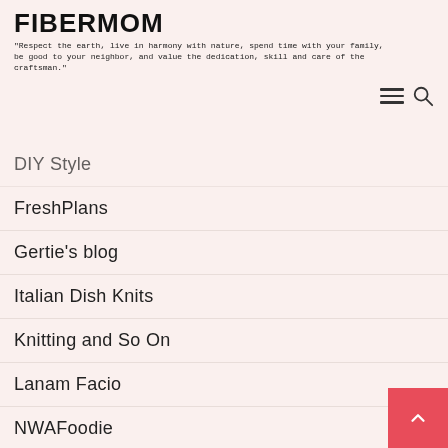FIBERMOM
"Respect the earth, live in harmony with nature, spend time with your family, be good to your neighbor, and value the dedication, skill and care of the craftsman."
[Figure (other): Hamburger menu icon and search icon in top right]
DIY Style
FreshPlans
Gertie's blog
Italian Dish Knits
Knitting and So On
Lanam Facio
NWAFoodie
Online Marketing Blog
Pam Powers
[Figure (other): Back to top button, red/pink square with upward chevron arrow, bottom right corner]